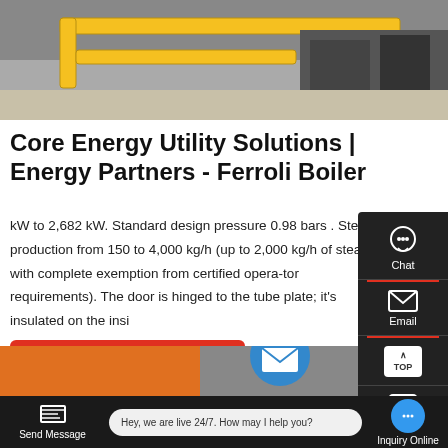[Figure (photo): Yellow industrial pipes/boiler equipment in a factory setting]
Core Energy Utility Solutions | Energy Partners - Ferroli Boiler
kW to 2,682 kW. Standard design pressure 0.98 bars . Steam production from 150 to 4,000 kg/h (up to 2,000 kg/h of steam with complete exemption from certified opera-tor requirements). The door is hinged to the tube plate; it's insulated on the insi
[Figure (screenshot): Get a quote red button]
[Figure (photo): Bottom strip showing industrial equipment]
[Figure (screenshot): Right sidebar with Chat, Email, TOP, Contact icons]
Hey, we are live 24/7. How may I help you?
Send Message
Inquiry Online